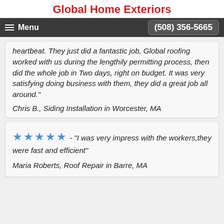Global Home Exteriors
Menu   (508) 356-5665
heartbeat. They just did a fantastic job, Global roofing worked with us during the lengthily permitting process, then did the whole job in Two days, right on budget. It was very satisfying doing business with them, they did a great job all around."
Chris B., Siding Installation in Worcester, MA
★★★★★ - "I was very impress with the workers,they were fast and efficient"
Maria Roberts, Roof Repair in Barre, MA